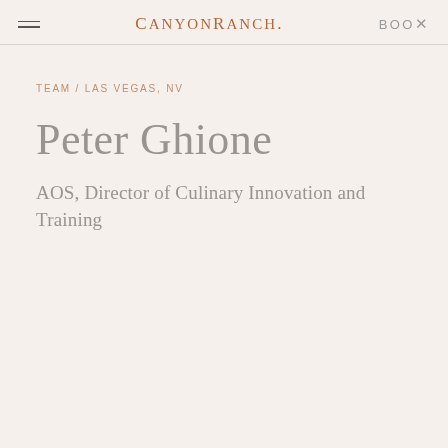CanyonRanch. BOOK
TEAM / LAS VEGAS, NV
Peter Ghione
AOS, Director of Culinary Innovation and Training